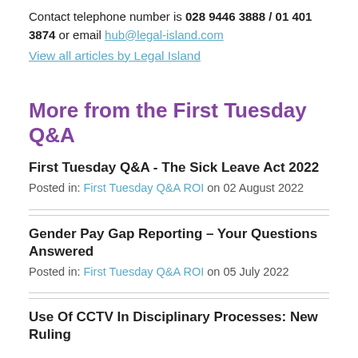Contact telephone number is 028 9446 3888 / 01 401 3874 or email hub@legal-island.com
View all articles by Legal Island
More from the First Tuesday Q&A
First Tuesday Q&A - The Sick Leave Act 2022
Posted in: First Tuesday Q&A ROI on 02 August 2022
Gender Pay Gap Reporting – Your Questions Answered
Posted in: First Tuesday Q&A ROI on 05 July 2022
Use Of CCTV In Disciplinary Processes: New Ruling